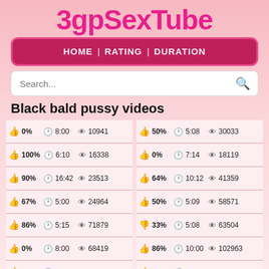3gpSexTube
HOME | RATING | DURATION
Black bald pussy videos
| Rating | Duration | Views | Rating | Duration | Views |
| --- | --- | --- | --- | --- | --- |
| 0% | 8:00 | 10941 | 50% | 5:08 | 30033 |
| 100% | 6:10 | 16338 | 0% | 7:14 | 18119 |
| 90% | 16:42 | 23513 | 64% | 10:12 | 41359 |
| 67% | 5:00 | 24964 | 50% | 5:09 | 58571 |
| 86% | 5:15 | 71879 | 33% | 5:08 | 63504 |
| 0% | 8:00 | 68419 | 86% | 10:00 | 102963 |
| 75% | 8:01 | 6516 | 100% | 7:00 | 6258 |
| 50% | 5:08 | 16880 | 50% | 6:17 | 6700 |